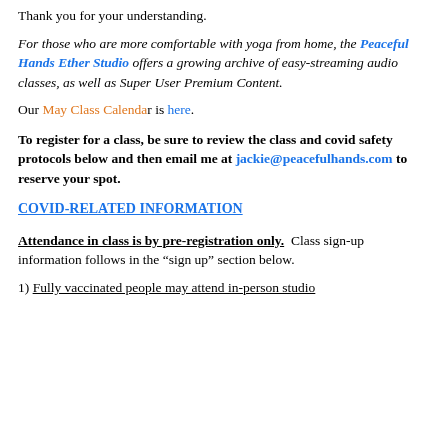Thank you for your understanding.
For those who are more comfortable with yoga from home, the Peaceful Hands Ether Studio offers a growing archive of easy-streaming audio classes, as well as Super User Premium Content.
Our May Class Calendar is here.
To register for a class, be sure to review the class and covid safety protocols below and then email me at jackie@peacefulhands.com to reserve your spot.
COVID-RELATED INFORMATION
Attendance in class is by pre-registration only. Class sign-up information follows in the "sign up" section below.
1) Fully vaccinated people may attend in-person studio